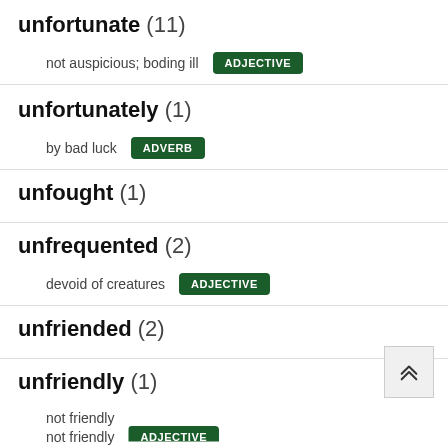unfortunate (11)
not auspicious; boding ill
ADJECTIVE
unfortunately (1)
by bad luck
ADVERB
unfought (1)
unfrequented (2)
devoid of creatures
ADJECTIVE
unfriended (2)
unfriendly (1)
not friendly
ADJECTIVE